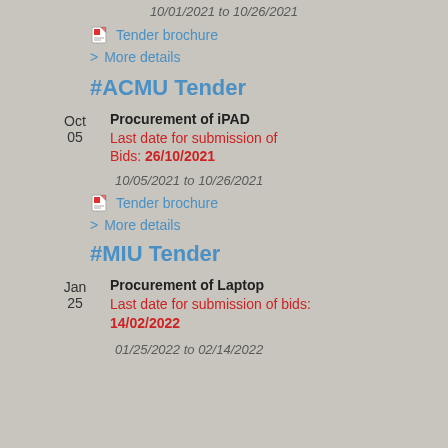10/01/2021 to 10/26/2021
Tender brochure
> More details
#ACMU Tender
Oct 05
Procurement of iPAD
Last date for submission of Bids: 26/10/2021
10/05/2021 to 10/26/2021
Tender brochure
> More details
#MIU Tender
Jan 25
Procurement of Laptop
Last date for submission of bids: 14/02/2022
01/25/2022 to 02/14/2022